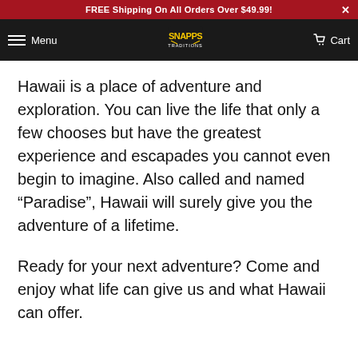FREE Shipping On All Orders Over $49.99!
Menu  [Logo]  Cart
Hawaii is a place of adventure and exploration. You can live the life that only a few chooses but have the greatest experience and escapades you cannot even begin to imagine. Also called and named “Paradise”, Hawaii will surely give you the adventure of a lifetime.
Ready for your next adventure? Come and enjoy what life can give us and what Hawaii can offer.